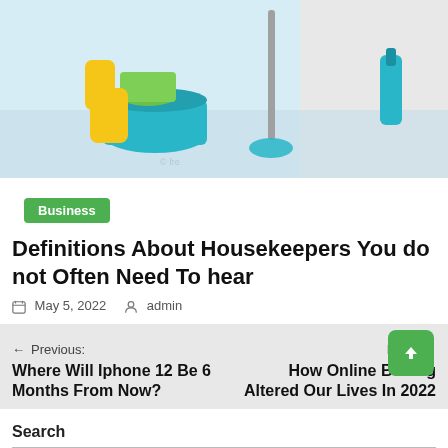[Figure (photo): Photo of cleaning supplies including yellow rubber gloves, a teal bucket with green cloths, and a mop on a shiny floor with a spray bottle in the background against a white brick wall]
Business
Definitions About Housekeepers You do not Often Need To hear
May 5, 2022   admin
← Previous: Where Will Iphone 12 Be 6 Months From Now?
Next: → How Online Betting Altered Our Lives In 2022
Search